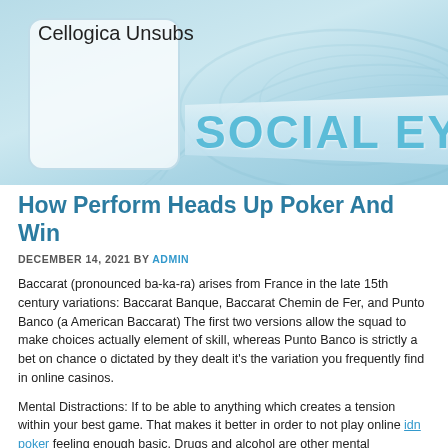Cellogica Unsubs
[Figure (logo): Social Eye website header banner with logo box and decorative swirl background in light blue tones]
How Perform Heads Up Poker And Win
DECEMBER 14, 2021 BY ADMIN
Baccarat (pronounced ba-ka-ra) arises from France in the late 15th century variations: Baccarat Banque, Baccarat Chemin de Fer, and Punto Banco (a American Baccarat) The first two versions allow the squad to make choices actually element of skill, whereas Punto Banco is strictly a bet on chance o dictated by they dealt it's the variation you frequently find in online casinos.
Mental Distractions: If to be able to anything which creates a tension within your best game. That makes it better in order to not play online idn poker feeling enough basic. Drugs and alcohol are other mental destruction. Hav inside games is one thing, just be sure are drinking more and paying less a win in any situation. Regardless what you think, you can't play the best gam